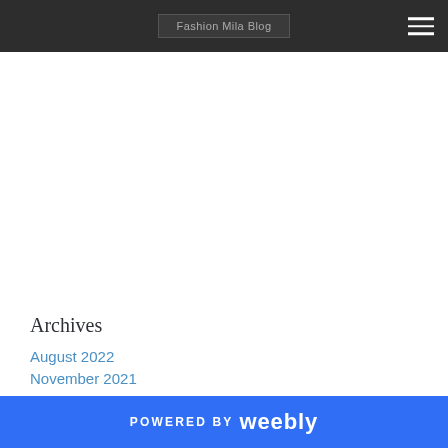Fashion Mila Blog
Archives
August 2022
November 2021
POWERED BY weebly